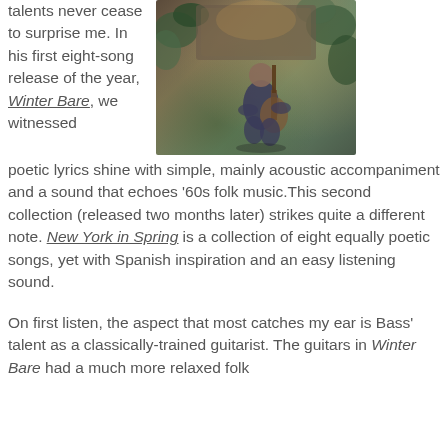talents never cease to surprise me. In his first eight-song release of the year, Winter Bare, we witnessed poetic lyrics shine with simple, mainly acoustic accompaniment and a sound that echoes '60s folk music. This second collection (released two months later) strikes quite a different note. New York in Spring is a collection of eight equally poetic songs, yet with Spanish inspiration and an easy listening sound.
[Figure (photo): A musician sitting and playing guitar in a lush indoor/outdoor space with plants and warm atmospheric lighting]
On first listen, the aspect that most catches my ear is Bass' talent as a classically-trained guitarist. The guitars in Winter Bare had a much more relaxed folk